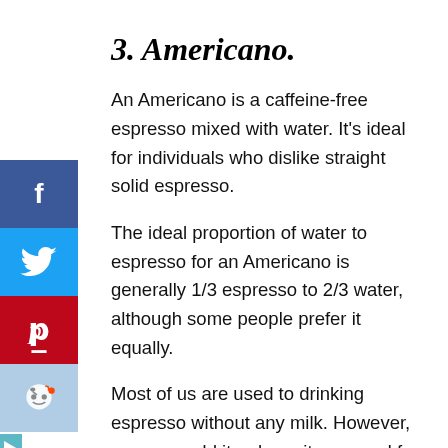3. Americano.
An Americano is a caffeine-free espresso mixed with water. It's ideal for individuals who dislike straight solid espresso.
The ideal proportion of water to espresso for an Americano is generally 1/3 espresso to 2/3 water, although some people prefer it equally.
Most of us are used to drinking espresso without any milk. However, you may add it or have it prepared for you. If that's your preference, Americanos can also be ordered iced.
4. Cold Brew.